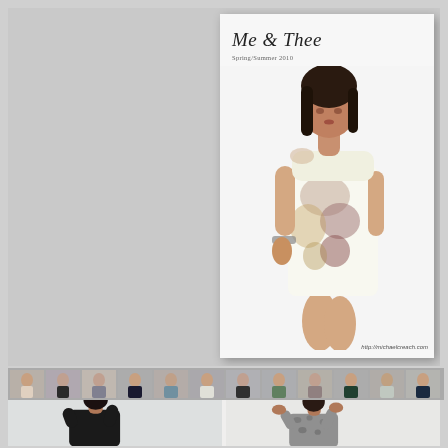[Figure (photo): Fashion catalog page showing 'Me & Thee Spring/Summer 2010' catalog cover with a female model wearing a white floral print dress, posed against white background. URL watermark: http://michaelcreach.com. Left side is a gray panel. Below the main image is a horizontal strip of fashion photo thumbnails. Bottom section shows two fashion model photos - one in black, one in a patterned outfit.]